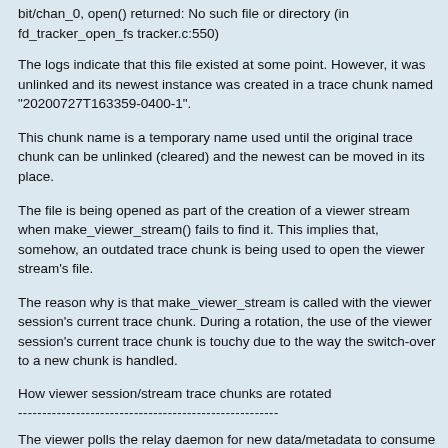bit/chan_0, open() returned: No such file or directory (in fd_tracker_open_fs tracker.c:550)
The logs indicate that this file existed at some point. However, it was unlinked and its newest instance was created in a trace chunk named "20200727T163359-0400-1".
This chunk name is a temporary name used until the original trace chunk can be unlinked (cleared) and the newest can be moved in its place.
The file is being opened as part of the creation of a viewer stream when make_viewer_stream() fails to find it. This implies that, somehow, an outdated trace chunk is being used to open the viewer stream's file.
The reason why is that make_viewer_stream is called with the viewer session's current trace chunk. During a rotation, the use of the viewer session's current trace chunk is touchy due to the way the switch-over to a new chunk is handled.
How viewer session/stream trace chunks are rotated
The viewer polls the relay daemon for new data/metadata to consume using the `GET_NEXT_INDEX` and `GET_METADATA` commands. Both comm...